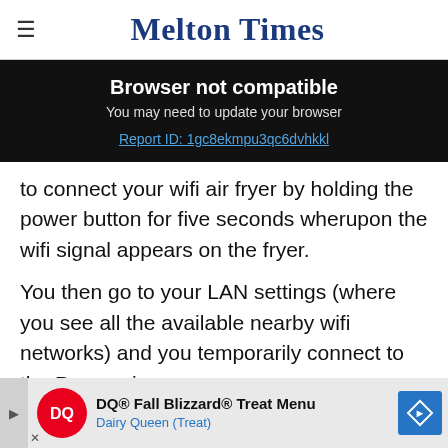Melton Times
[Figure (screenshot): Browser not compatible banner on black background with text 'Browser not compatible', 'You may need to update your browser', and a link 'Report ID: 1gc8ekmpu3qc6dvhkkl']
to connect your wifi air fryer by holding the power button for five seconds wherupon the wifi signal appears on the fryer.
You then go to your LAN settings (where you see all the available nearby wifi networks) and you temporarily connect to the Proscenic one that [...]your airfry[...] to
[Figure (screenshot): Dairy Queen advertisement banner: DQ Fall Blizzard Treat Menu, Dairy Queen (Treat)]